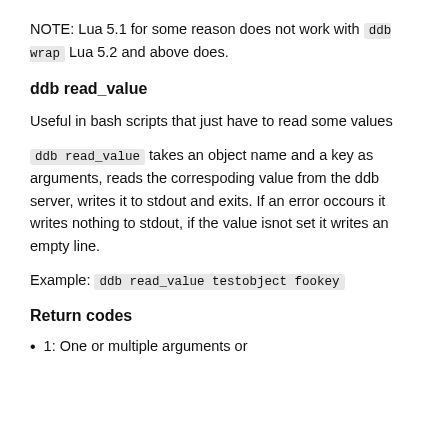NOTE: Lua 5.1 for some reason does not work with ddb wrap Lua 5.2 and above does.
ddb read_value
Useful in bash scripts that just have to read some values
ddb read_value takes an object name and a key as arguments, reads the correspoding value from the ddb server, writes it to stdout and exits. If an error occours it writes nothing to stdout, if the value isnot set it writes an empty line.
Example: ddb read_value testobject fookey
Return codes
1: One or multiple arguments or